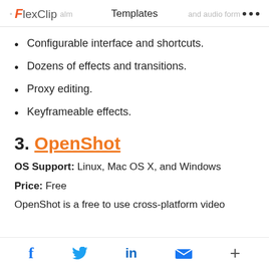FlexClip | Templates
Configurable interface and shortcuts.
Dozens of effects and transitions.
Proxy editing.
Keyframeable effects.
3. OpenShot
OS Support: Linux, Mac OS X, and Windows
Price: Free
OpenShot is a free to use cross-platform video
f | Twitter | in | mail | +